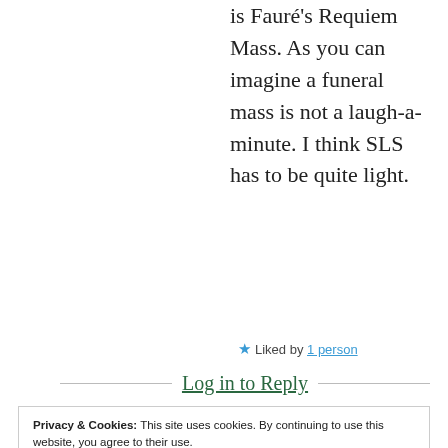is Fauré's Requiem Mass. As you can imagine a funeral mass is not a laugh-a-minute. I think SLS has to be quite light.
★ Liked by 1 person
Log in to Reply
Privacy & Cookies: This site uses cookies. By continuing to use this website, you agree to their use.
To find out more, including how to control cookies, see here: Cookie Policy
Close and accept